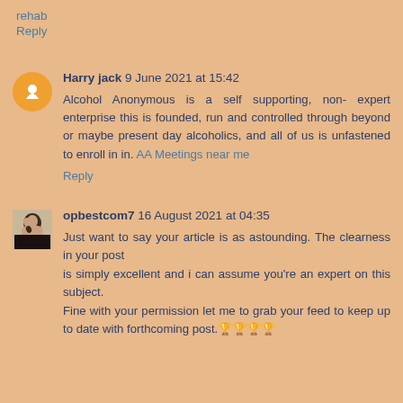rehab
Reply
Harry jack 9 June 2021 at 15:42
Alcohol Anonymous is a self supporting, non- expert enterprise this is founded, run and controlled through beyond or maybe present day alcoholics, and all of us is unfastened to enroll in in. AA Meetings near me
Reply
opbestcom7 16 August 2021 at 04:35
Just want to say your article is as astounding. The clearness in your post is simply excellent and i can assume you're an expert on this subject. Fine with your permission let me to grab your feed to keep up to date with forthcoming post.🏆🏆🏆🏆